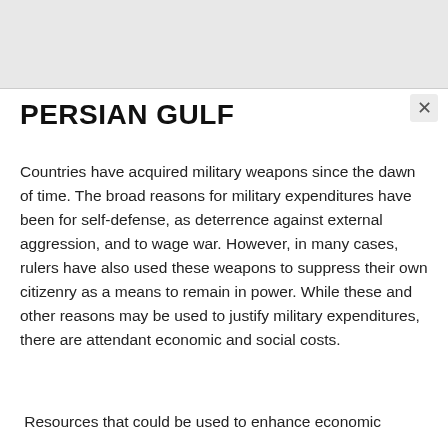PERSIAN GULF
Countries have acquired military weapons since the dawn of time. The broad reasons for military expenditures have been for self-defense, as deterrence against external aggression, and to wage war. However, in many cases, rulers have also used these weapons to suppress their own citizenry as a means to remain in power. While these and other reasons may be used to justify military expenditures, there are attendant economic and social costs.
Resources that could be used to enhance economic